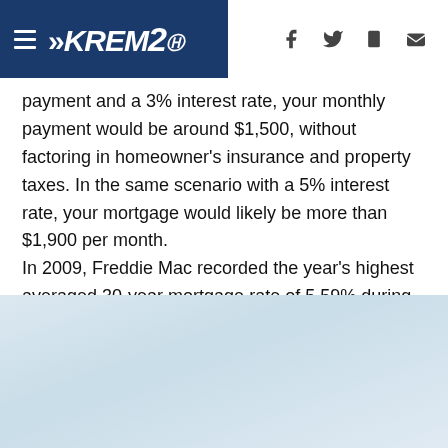KREM2 [navigation header with social icons]
payment and a 3% interest rate, your monthly payment would be around $1,500, without factoring in homeowner's insurance and property taxes. In the same scenario with a 5% interest rate, your mortgage would likely be more than $1,900 per month.
In 2009, Freddie Mac recorded the year's highest averaged 30-year mortgage rate of 5.59% during the week ending June 11. The average 30-year mortgage rate for that year was 5.4%, according to Bankrate's data.